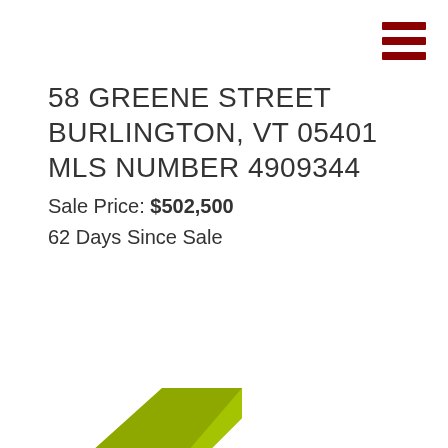[Figure (illustration): Red hamburger menu icon (three horizontal dark red bars) in the top right corner]
58 GREENE STREET BURLINGTON, VT 05401 MLS NUMBER 4909344
Sale Price: $502,500
62 Days Since Sale
[Figure (illustration): Olive/yellow-green folded ribbon badge with white text reading 'SOLD']